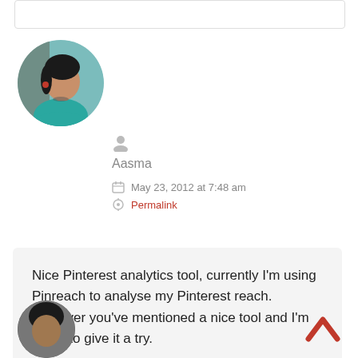[Figure (photo): Circular avatar photo of a woman in a teal/green top, looking to the side]
Aasma
May 23, 2012 at 7:48 am
Permalink
Nice Pinterest analytics tool, currently I'm using Pinreach to analyse my Pinterest reach. However you've mentioned a nice tool and I'm going to give it a try.
[Figure (photo): Partial circular avatar of a person with dark hair, cropped at bottom of page]